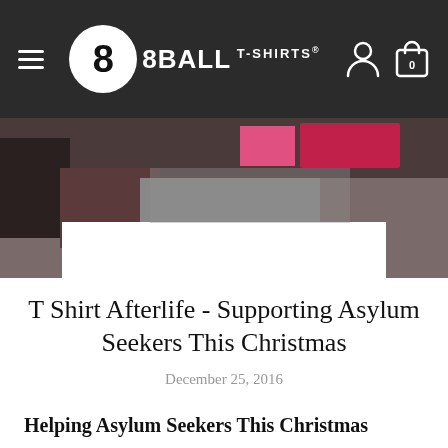8BALL T-SHIRTS (navigation bar with hamburger menu, logo, user icon, and cart icon showing 0)
[Figure (photo): Hero image showing an indoor scene with people and a table, partially obscured; a white card overlay appears at bottom center of the image area.]
T Shirt Afterlife - Supporting Asylum Seekers This Christmas
December 25, 2016
Helping Asylum Seekers This Christmas
Early on a cold December Friday morning, Richard and Kerry from 8Ball were driving down the M6 with a car load of 500 tshirts. Each one a perfectly good garment, no